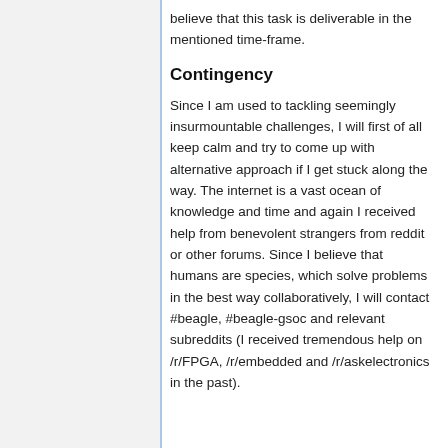believe that this task is deliverable in the mentioned time-frame.
Contingency
Since I am used to tackling seemingly insurmountable challenges, I will first of all keep calm and try to come up with alternative approach if I get stuck along the way. The internet is a vast ocean of knowledge and time and again I received help from benevolent strangers from reddit or other forums. Since I believe that humans are species, which solve problems in the best way collaboratively, I will contact #beagle, #beagle-gsoc and relevant subreddits (I received tremendous help on /r/FPGA, /r/embedded and /r/askelectronics in the past).